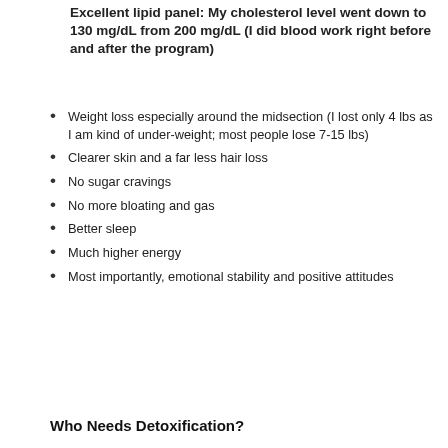Excellent lipid panel: My cholesterol level went down to 130 mg/dL from 200 mg/dL (I did blood work right before and after the program)
Weight loss especially around the midsection (I lost only 4 lbs as I am kind of under-weight; most people lose 7-15 lbs)
Clearer skin and a far less hair loss
No sugar cravings
No more bloating and gas
Better sleep
Much higher energy
Most importantly, emotional stability and positive attitudes
Who Needs Detoxification?